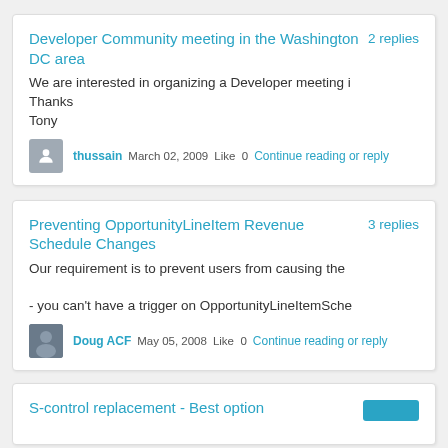Developer Community meeting in the Washington DC area
2 replies
We are interested in organizing a Developer meeting i
Thanks
Tony
thussain   March 02, 2009   Like 0   Continue reading or reply
Preventing OpportunityLineItem Revenue Schedule Changes
3 replies
Our requirement is to prevent users from causing the

- you can't have a trigger on OpportunityLineItemSche
Doug ACF   May 05, 2008   Like 0   Continue reading or reply
S-control replacement - Best option